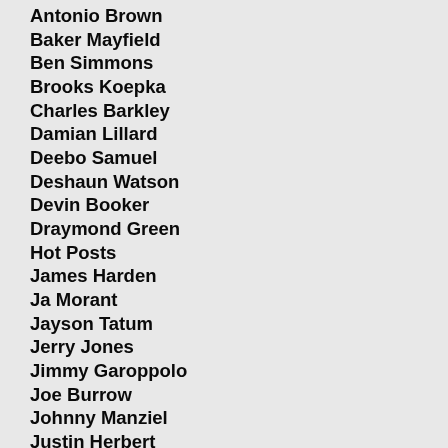Antonio Brown
Baker Mayfield
Ben Simmons
Brooks Koepka
Charles Barkley
Damian Lillard
Deebo Samuel
Deshaun Watson
Devin Booker
Draymond Green
Hot Posts
James Harden
Ja Morant
Jayson Tatum
Jerry Jones
Jimmy Garoppolo
Joe Burrow
Johnny Manziel
Justin Herbert
Kevin Durant
Kyrie Irving